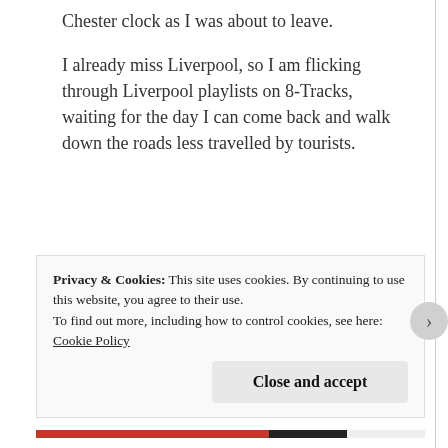Chester clock as I was about to leave.
I already miss Liverpool, so I am flicking through Liverpool playlists on 8-Tracks, waiting for the day I can come back and walk down the roads less travelled by tourists.
Privacy & Cookies: This site uses cookies. By continuing to use this website, you agree to their use.
To find out more, including how to control cookies, see here: Cookie Policy
Close and accept